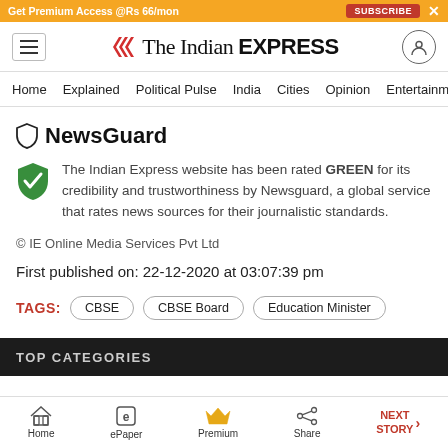Get Premium Access @Rs 66/mon  SUBSCRIBE  ×
[Figure (logo): The Indian Express logo with red chevron marks and hamburger menu icon and user profile icon]
Home  Explained  Political Pulse  India  Cities  Opinion  Entertainment
NewsGuard
The Indian Express website has been rated GREEN for its credibility and trustworthiness by Newsguard, a global service that rates news sources for their journalistic standards.
© IE Online Media Services Pvt Ltd
First published on: 22-12-2020 at 03:07:39 pm
TAGS: CBSE  CBSE Board  Education Minister
TOP CATEGORIES
Home  ePaper  Premium  Share  NEXT STORY →